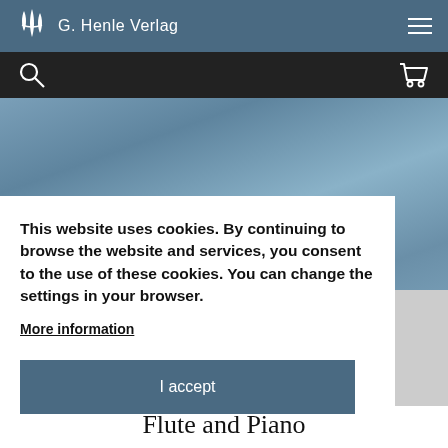G. Henle Verlag
This website uses cookies. By continuing to browse the website and services, you consent to the use of these cookies. You can change the settings in your browser.
More information
I accept
Flute and Piano